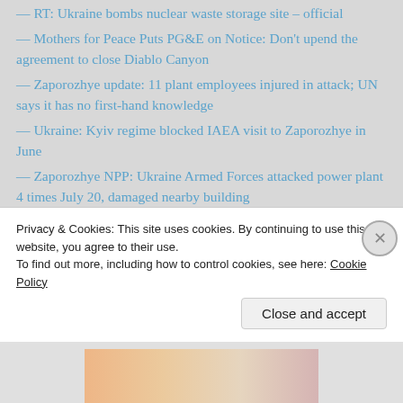— RT: Ukraine bombs nuclear waste storage site – official
— Mothers for Peace Puts PG&E on Notice: Don't upend the agreement to close Diablo Canyon
— Zaporozhye update: 11 plant employees injured in attack; UN says it has no first-hand knowledge
— Ukraine: Kyiv regime blocked IAEA visit to Zaporozhye in June
— Zaporozhye NPP: Ukraine Armed Forces attacked power plant 4 times July 20, damaged nearby building
— Nuclear power is racist, sexist and ageist
— Gavin Newsom's protection of PG&E and Diablo Canyon
— The Nuclear Fuel Cycle (VIDEO)
Privacy & Cookies: This site uses cookies. By continuing to use this website, you agree to their use.
To find out more, including how to control cookies, see here: Cookie Policy
Close and accept